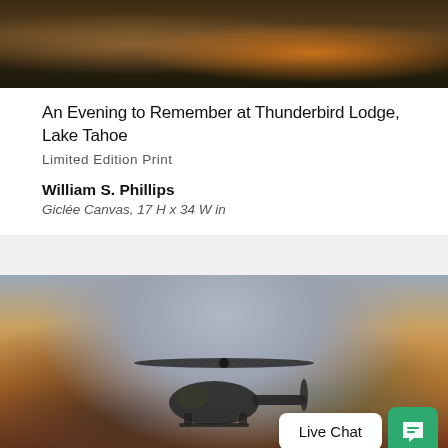[Figure (photo): Aerial or lakeside view of Thunderbird Lodge at Lake Tahoe at dusk/evening with warm orange light reflecting on water and snow-covered rocks]
An Evening to Remember at Thunderbird Lodge, Lake Tahoe
Limited Edition Print
William S. Phillips
Giclée Canvas, 17 H x 34 W in
[Figure (photo): Military helicopter (Black Hawk style) photographed at sunset/dusk with dramatic orange and purple sky, rotors visible, ground crew implied]
Live Chat